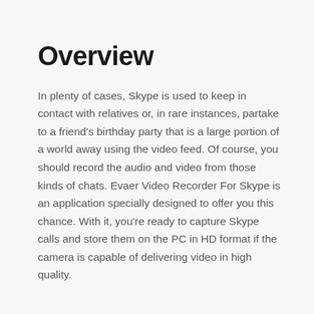Overview
In plenty of cases, Skype is used to keep in contact with relatives or, in rare instances, partake to a friend's birthday party that is a large portion of a world away using the video feed. Of course, you should record the audio and video from those kinds of chats. Evaer Video Recorder For Skype is an application specially designed to offer you this chance. With it, you're ready to capture Skype calls and store them on the PC in HD format if the camera is capable of delivering video in high quality.